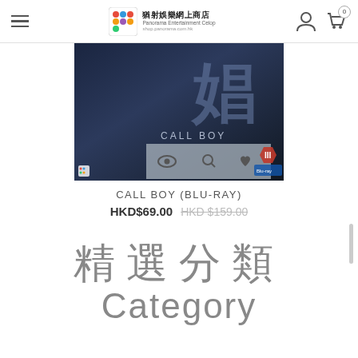猶射娛樂網上商店 Panorama Entertainment Celop shop.panorama.com.hk
[Figure (photo): Product image for CALL BOY Blu-ray showing a man in dark suit with large Chinese characters and 'CALL BOY' text, with overlay action icons (eye, magnifier, heart) and rating/Blu-ray badges]
CALL BOY (BLU-RAY)
HKD$69.00  HKD$159.00
精選分類 Category